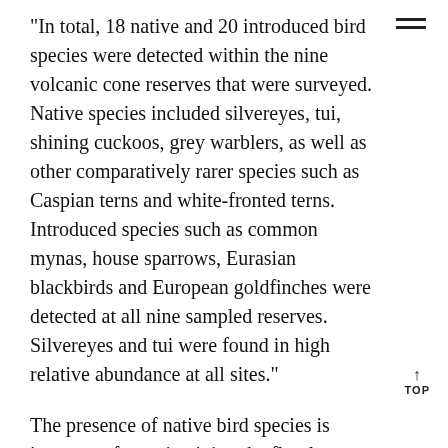“In total, 18 native and 20 introduced bird species were detected within the nine volcanic cone reserves that were surveyed. Native species included silvereyes, tui, shining cuckoos, grey warblers, as well as other comparatively rarer species such as Caspian terns and white-fronted terns. Introduced species such as common mynas, house sparrows, Eurasian blackbirds and European goldfinches were detected at all nine sampled reserves. Silvereyes and tui were found in high relative abundance at all sites.”
The presence of native bird species is important for maintaining the floral biodiversity at the volcanic reserve sites.
“From an ecological perspective, these avir species and other natives found on Auckla volcanoes, including New Zealand pigeon, are critical for maintaining healthy ecosystems. For